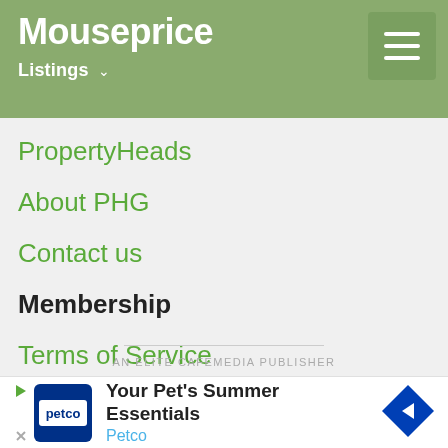Mouseprice — Listings
PropertyHeads
About PHG
Contact us
Membership
Terms of Service
Privacy Policy
Mouseprice Pro
About Pro
AN ELITE CAFEMEDIA PUBLISHER
[Figure (screenshot): Petco advertisement banner: Your Pet's Summer Essentials — Petco]